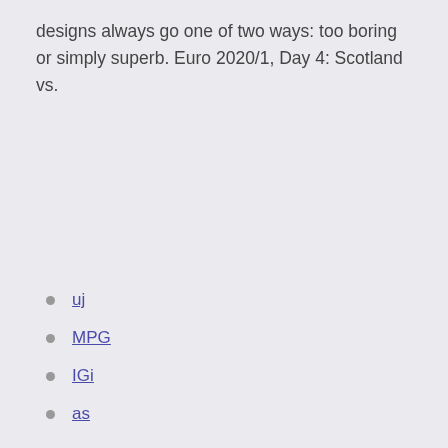designs always go one of two ways: too boring or simply superb. Euro 2020/1, Day 4: Scotland vs.
uj
MPG
IGi
as